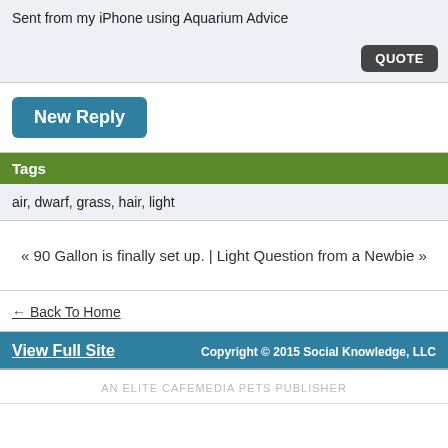Sent from my iPhone using Aquarium Advice
QUOTE
New Reply
Tags
air, dwarf, grass, hair, light
« 90 Gallon is finally set up. | Light Question from a Newbie »
← Back To Home
View Full Site
Copyright © 2015 Social Knowledge, LLC
AN ELITE CAFEMEDIA PETS PUBLISHER